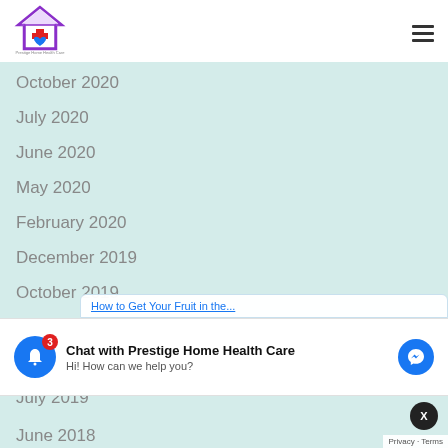[Figure (logo): Prestige Home Health Care logo: house outline in purple with red cross and blue heart inside]
October 2020
July 2020
June 2020
May 2020
February 2020
December 2019
October 2019
September 2019
August 2019
July 2019
June 2019
June 2018